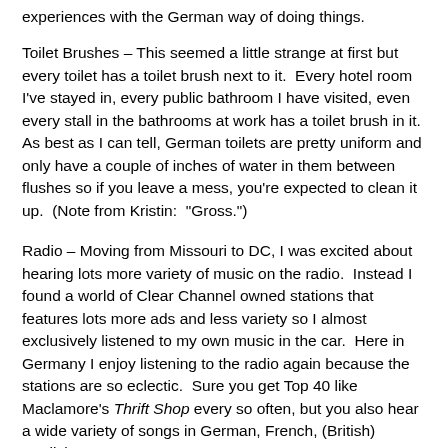experiences with the German way of doing things.
Toilet Brushes – This seemed a little strange at first but every toilet has a toilet brush next to it.  Every hotel room I've stayed in, every public bathroom I have visited, even every stall in the bathrooms at work has a toilet brush in it.  As best as I can tell, German toilets are pretty uniform and only have a couple of inches of water in them between flushes so if you leave a mess, you're expected to clean it up.  (Note from Kristin:  "Gross.")
Radio – Moving from Missouri to DC, I was excited about hearing lots more variety of music on the radio.  Instead I found a world of Clear Channel owned stations that features lots more ads and less variety so I almost exclusively listened to my own music in the car.  Here in Germany I enjoy listening to the radio again because the stations are so eclectic.  Sure you get Top 40 like Maclamore's Thrift Shop every so often, but you also hear a wide variety of songs in German, French, (British) English, etc.
Traffic Lights - The lights here go from green to yellow to red